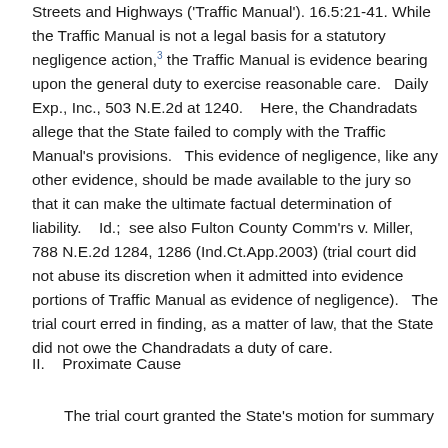Streets and Highways ('Traffic Manual'). 16.5:21-41. While the Traffic Manual is not a legal basis for a statutory negligence action,3 the Traffic Manual is evidence bearing upon the general duty to exercise reasonable care. Daily Exp., Inc., 503 N.E.2d at 1240. Here, the Chandradats allege that the State failed to comply with the Traffic Manual's provisions. This evidence of negligence, like any other evidence, should be made available to the jury so that it can make the ultimate factual determination of liability. Id.; see also Fulton County Comm'rs v. Miller, 788 N.E.2d 1284, 1286 (Ind.Ct.App.2003) (trial court did not abuse its discretion when it admitted into evidence portions of Traffic Manual as evidence of negligence). The trial court erred in finding, as a matter of law, that the State did not owe the Chandradats a duty of care.
II. Proximate Cause
The trial court granted the State's motion for summary